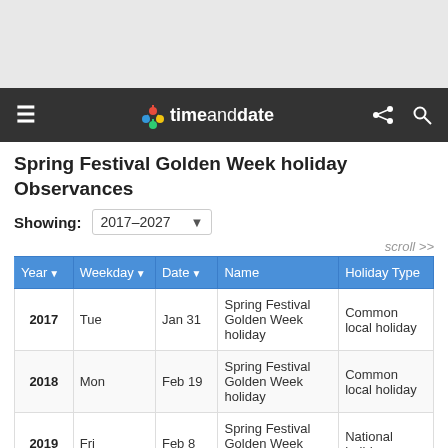timeanddate
Spring Festival Golden Week holiday Observances
Showing: 2017–2027
scroll >>
| Year ▼ | Weekday ▼ | Date ▼ | Name | Holiday Type |
| --- | --- | --- | --- | --- |
| 2017 | Tue | Jan 31 | Spring Festival Golden Week holiday | Common local holiday |
| 2018 | Mon | Feb 19 | Spring Festival Golden Week holiday | Common local holiday |
| 2019 | Fri | Feb 8 | Spring Festival Golden Week holiday | National holiday |
| 2020 | Tue | Jan 28 | Spring Festival Golden Week holiday | National holiday |
| 2021 | Mon | Feb 15 | Spring Festival Golden Week holiday | National holiday |